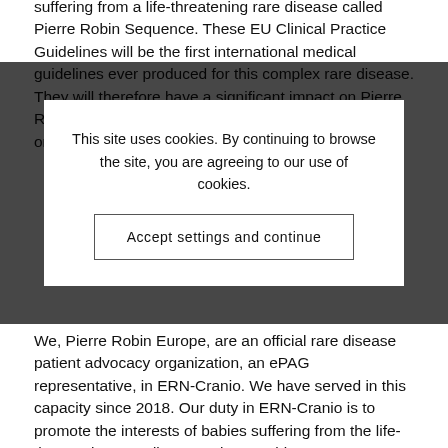suffering from a life-threatening rare disease called Pierre Robin Sequence. These EU Clinical Practice Guidelines will be the first international medical guidelines ever produced for this complex rare disease. They will therefore have a significant impact on Pierre Robin Sequence babies for many years to come, and on the quality of care these babies receive.
This site uses cookies. By continuing to browse the site, you are agreeing to our use of cookies.
Accept settings and continue
We, Pierre Robin Europe, are an official rare disease patient advocacy organization, an ePAG representative, in ERN-Cranio. We have served in this capacity since 2018. Our duty in ERN-Cranio is to promote the interests of babies suffering from the life-threatening rare disease, Pierre Robin Sequence. We have watched with increasing concern as this EU-funded project has been managed in a way which we believe violates EU rules, scientific rigor – a view shared by two leading international experts on this rare disease – and once again in an opinion held strongly by respected outside observers, common sense – based on ERN-Cranio's arbitrary decision to exclude from the drafting group Europe's two most respected Orphanet Centers of Expertise for this rare disease. Of the two Orphanet Pierre Robin Sequence Centers of Expertise which have been excluded, one is the Center of Expertise